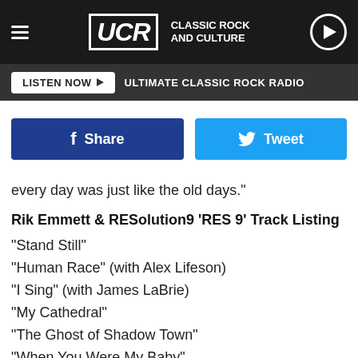UCR Classic Rock and Culture
LISTEN NOW | ULTIMATE CLASSIC ROCK RADIO
[Figure (other): Facebook Share button and Twitter Tweet button]
every day was just like the old days."
Rik Emmett & RESolution9 'RES 9' Track Listing
"Stand Still"
"Human Race" (with Alex Lifeson)
"I Sing" (with James LaBrie)
"My Cathedral"
"The Ghost of Shadow Town"
"When You Were My Baby"
"Sweet Tooth"
"Heads Up"